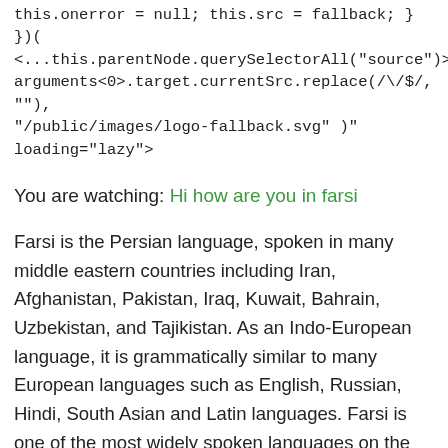this.onerror = null; this.src = fallback; } })(<...this.parentNode.querySelectorAll("source")>, arguments<0>.target.currentSrc.replace(/\/\$/, ""), "/public/images/logo-fallback.svg" )" loading="lazy">
You are watching: Hi how are you in farsi
Farsi is the Persian language, spoken in many middle eastern countries including Iran, Afghanistan, Pakistan, Iraq, Kuwait, Bahrain, Uzbekistan, and Tajikistan. As an Indo-European language, it is grammatically similar to many European languages such as English, Russian, Hindi, South Asian and Latin languages. Farsi is one of the most widely spoken languages on the web. If you have a have a friend who speaks Farsi, learning to greet him with "How are you?" will certainly impress him.